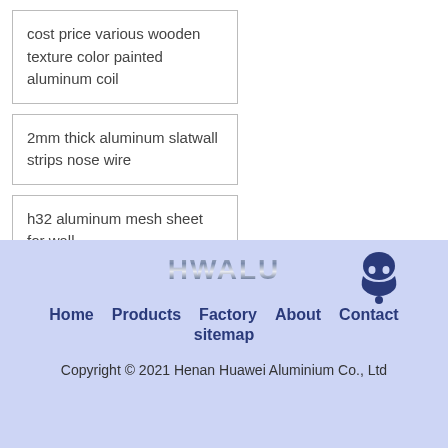cost price various wooden texture color painted aluminum coil
2mm thick aluminum slatwall strips nose wire
h32 aluminum mesh sheet for wall
[Figure (logo): HWALU metallic logo text with notification bell icon]
Home
Products
Factory
About
Contact
sitemap
Copyright © 2021 Henan Huawei Aluminium Co., Ltd